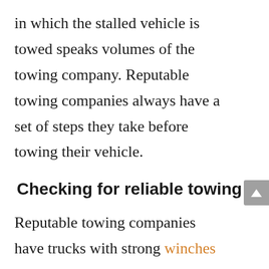in which the stalled vehicle is towed speaks volumes of the towing company. Reputable towing companies always have a set of steps they take before towing their vehicle.
Checking for reliable towing
Reputable towing companies have trucks with strong winches used to haul the stalled vehicle, so they're strong enough to do so. In inclement weather, they can even dispatch two